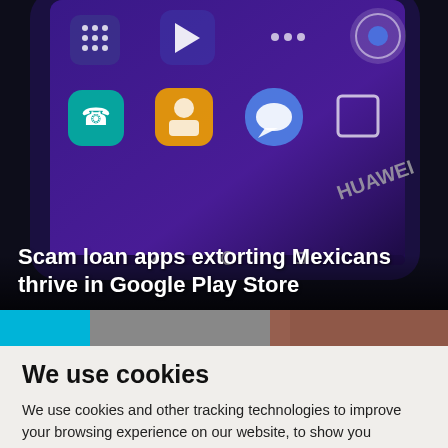[Figure (photo): Close-up photo of a Huawei Android smartphone showing home screen with various app icons including Google, Play Store, Messages, Chrome on a dark purple background]
Scam loan apps extorting Mexicans thrive in Google Play Store
[Figure (photo): Partial image strip showing a cyan/blue block on the left and a partial photo on the right, likely a teaser for another article]
We use cookies
We use cookies and other tracking technologies to improve your browsing experience on our website, to show you personalized content and targeted ads, to analyze our website traffic, and to understand where our visitors are coming from.